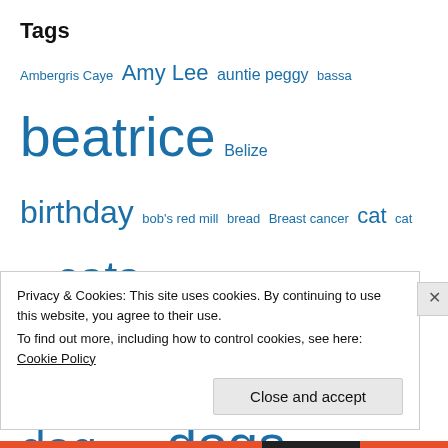Tags
Ambergris Caye Amy Lee auntie peggy bassa beatrice Belize birthday bob's red mill bread Breast cancer cat cat facts cats celebrity interview chester chicken Cleveland coconut coffee Deb Sialana dog Dog food dogs food France glass house gluten free golf halloween healthy Hiking homemade dog food iris juniper keeper Little G mung bean noodles Oakland California olive organic gardening Pet Pets pilates by carolyn Pizzle poem poet poetry Possum pressure cooker
Privacy & Cookies: This site uses cookies. By continuing to use this website, you agree to their use. To find out more, including how to control cookies, see here: Cookie Policy